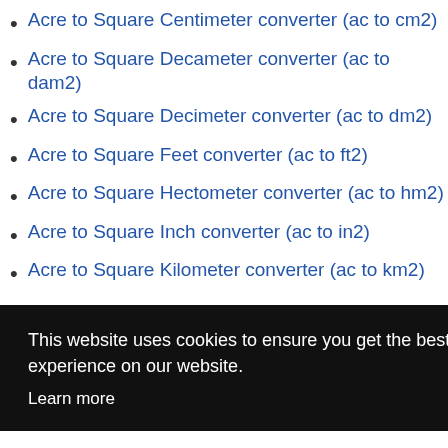Acre to Square Centimeter converter (ac to cm2)
Acre to Square Decameter converter (ac to dam2)
Acre to Square Decimeter converter (ac to dm2)
Acre to Square Feet converter (ac to ft2)
Acre to Square Hectometer converter (ac to hm2)
Acre to Square Inch converter (ac to in2)
Acre to Square Kilometer converter (ac to km2)
This website uses cookies to ensure you get the best experience on our website. Learn more